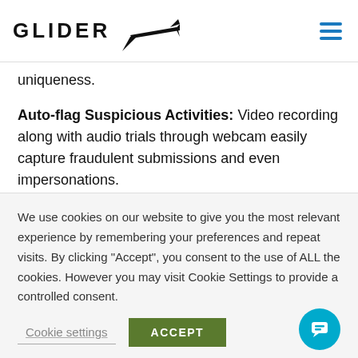GLIDER
uniqueness.
Auto-flag Suspicious Activities: Video recording along with audio trials through webcam easily capture fraudulent submissions and even impersonations.
Additionally, Glider’s proctoring system is explicitly
We use cookies on our website to give you the most relevant experience by remembering your preferences and repeat visits. By clicking “Accept”, you consent to the use of ALL the cookies. However you may visit Cookie Settings to provide a controlled consent.